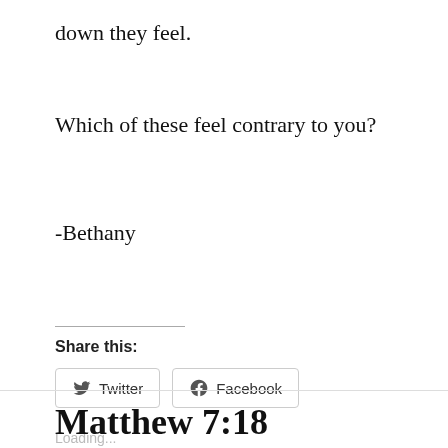down they feel.
Which of these feel contrary to you?
-Bethany
Share this:
[Figure (other): Twitter and Facebook share buttons]
Loading...
Matthew 7:18